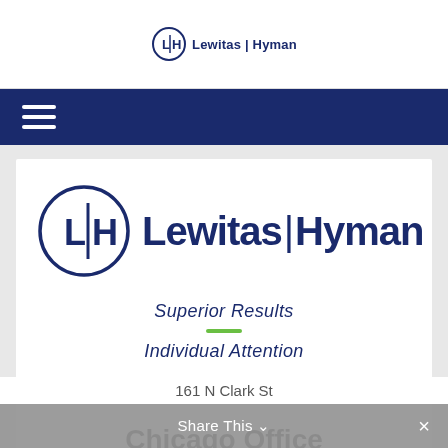[Figure (logo): Lewitas Hyman law firm logo in header - circle with L|H initials and firm name]
[Figure (logo): Lewitas Hyman law firm large logo - circle with L|H initials and firm name]
Superior Results
Individual Attention
Chicago Office
161 N Clark St
Share This